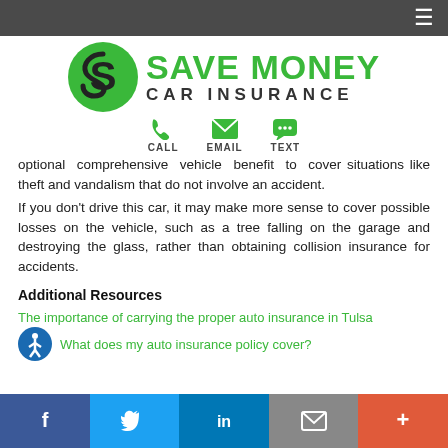[Figure (logo): Save Money Car Insurance logo with green circular S icon and green/dark text]
optional comprehensive vehicle benefit to cover situations like theft and vandalism that do not involve an accident.
If you don't drive this car, it may make more sense to cover possible losses on the vehicle, such as a tree falling on the garage and destroying the glass, rather than obtaining collision insurance for accidents.
Additional Resources
The importance of carrying the proper auto insurance in Tulsa
What does my auto insurance policy cover?
[Figure (logo): Accessibility icon - person in circle blue logo]